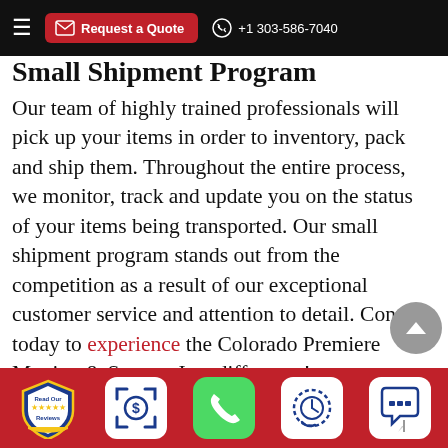Request a Quote  +1 303-586-7040
Small Shipment Program
Our team of highly trained professionals will pick up your items in order to inventory, pack and ship them. Throughout the entire process, we monitor, track and update you on the status of your items being transported. Our small shipment program stands out from the competition as a result of our exceptional customer service and attention to detail. Contact today to experience the Colorado Premiere Moving & Storage Inc. difference!
Moving Special Items
Read Our Reviews | [Quote icon] | [Phone icon] | [Clock icon] | [Chat icon]